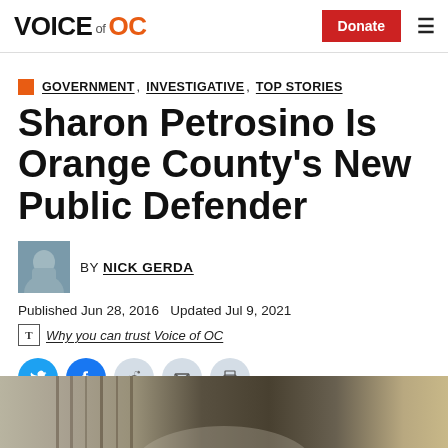VOICE of OC — Donate (button) — Menu (hamburger)
GOVERNMENT, INVESTIGATIVE, TOP STORIES
Sharon Petrosino Is Orange County's New Public Defender
BY NICK GERDA
Published Jun 28, 2016   Updated Jul 9, 2021
Why you can trust Voice of OC
[Figure (illustration): Social share buttons: Twitter, Facebook, Reddit, Email, Print]
[Figure (photo): Photo of Sharon Petrosino, partially visible at bottom of page, with law books in background]